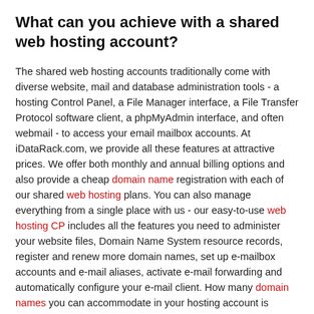What can you achieve with a shared web hosting account?
The shared web hosting accounts traditionally come with diverse website, mail and database administration tools - a hosting Control Panel, a File Manager interface, a File Transfer Protocol software client, a phpMyAdmin interface, and often webmail - to access your email mailbox accounts. At iDataRack.com, we provide all these features at attractive prices. We offer both monthly and annual billing options and also provide a cheap domain name registration with each of our shared web hosting plans. You can also manage everything from a single place with us - our easy-to-use web hosting CP includes all the features you need to administer your website files, Domain Name System resource records, register and renew more domain names, set up e-mailbox accounts and e-mail aliases, activate e-mail forwarding and automatically configure your e-mail client. How many domain names you can accommodate in your hosting account is determined by the website hosting package you